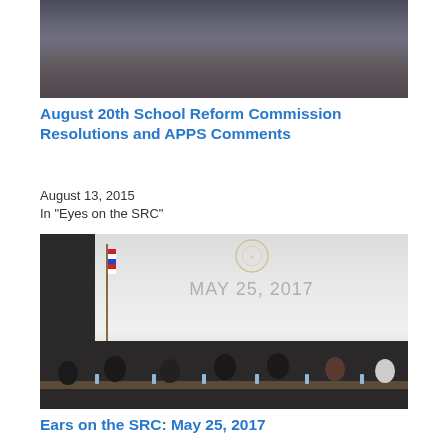[Figure (photo): Photo of audience members viewed from behind in a meeting or hearing room]
August 20th School Reform Commission Resolutions and APPS Comments
August 13, 2015
In "Eyes on the SRC"
[Figure (photo): Photo of a School Reform Commission meeting on May 25, 2017, showing commissioners seated at a long table with an American flag and projection screen displaying 'MAY 25, 2017']
Ears on the SRC: May 25, 2017